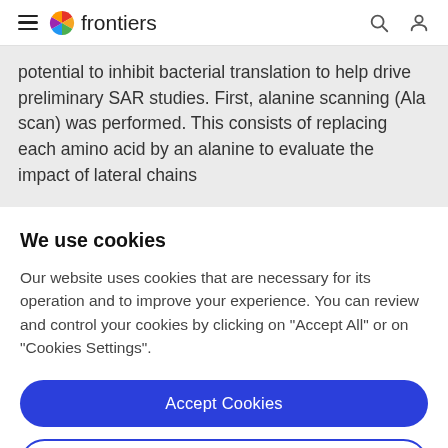≡  frontiers  🔍  👤
potential to inhibit bacterial translation to help drive preliminary SAR studies. First, alanine scanning (Ala scan) was performed. This consists of replacing each amino acid by an alanine to evaluate the impact of lateral chains
We use cookies
Our website uses cookies that are necessary for its operation and to improve your experience. You can review and control your cookies by clicking on "Accept All" or on "Cookies Settings".
Accept Cookies
Cookies Settings